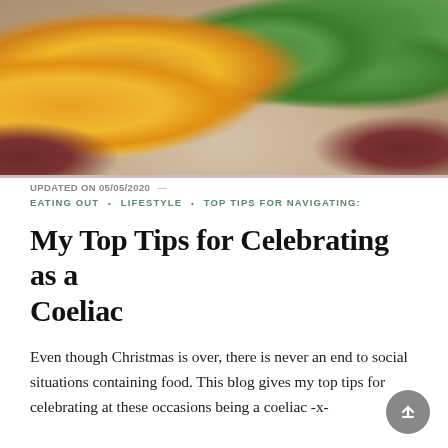[Figure (photo): Overhead close-up photo of a bowl/plate containing sweetcorn kernels and sliced cucumbers, with a dark red/maroon rim visible]
UPDATED ON 05/05/2020  —
EATING OUT • LIFESTYLE • TOP TIPS FOR NAVIGATING:
My Top Tips for Celebrating as a Coeliac
Even though Christmas is over, there is never an end to social situations containing food. This blog gives my top tips for celebrating at these occasions being a coeliac -x-